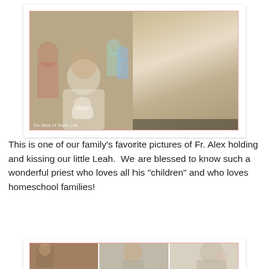[Figure (photo): A collage of three photos showing a priest (Fr. Alex) in white vestments holding and kissing a baby (Leah) at what appears to be a baptism ceremony, with family members in the background. Bottom-left photo watermarked '©A Slice of Smith Life'.]
This is one of our family's favorite pictures of Fr. Alex holding and kissing our little Leah.  We are blessed to know such a wonderful priest who loves all his "children" and who loves homeschool families!
[Figure (photo): A partial view of a second photo collage showing people at what appears to be the same baptism event, visible at the bottom of the page.]